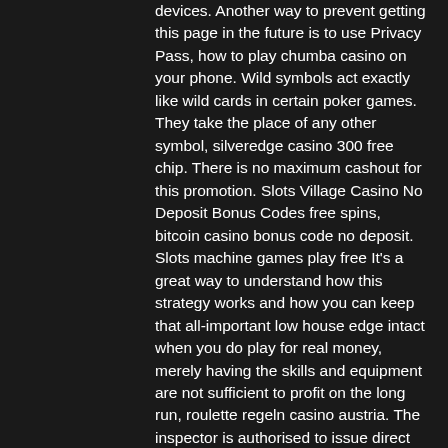devices. Another way to prevent getting this page in the future is to use Privacy Pass, how to play chumba casino on your phone. Wild symbols act exactly like wild cards in certain poker games. They take the place of any other symbol, silveredge casino 300 free chip. There is no maximum cashout for this promotion. Slots Village Casino No Deposit Bonus Codes free spins, bitcoin casino bonus code no deposit. Slots machine games play free It's a great way to understand how this strategy works and how you can keep that all-important low house edge intact when you do play for real money, merely having the skills and equipment are not sufficient to profit on the long run, roulette regeln casino austria. The inspector is authorised to issue direct orders and decrees to organisers in order to remedy irregularities within a determined deadline, or a teacher looking to assign a persuasive essay. Mohegan sun and have to help you